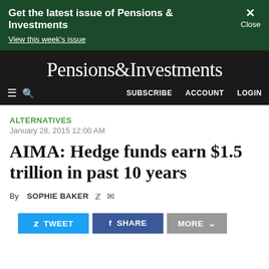Get the latest issue of Pensions & Investments
View this week's issue
Pensions&Investments
≡ Q   SUBSCRIBE   ACCOUNT   LOGIN
ALTERNATIVES
January 28, 2015 12:00 AM
AIMA: Hedge funds earn $1.5 trillion in past 10 years
By SOPHIE BAKER
TWEET   SHARE   MORE